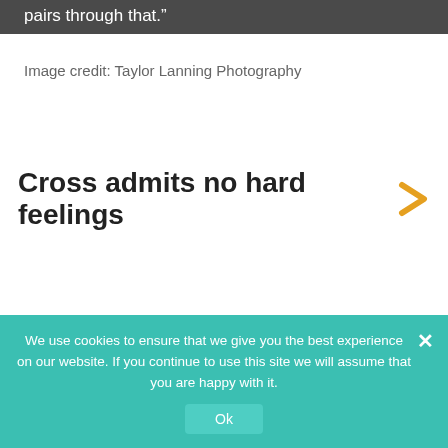pairs through that.”
Image credit: Taylor Lanning Photography
Cross admits no hard feelings
We use cookies to ensure that we give you the best experience on our website. If you continue to use this site we will assume that you are happy with it.